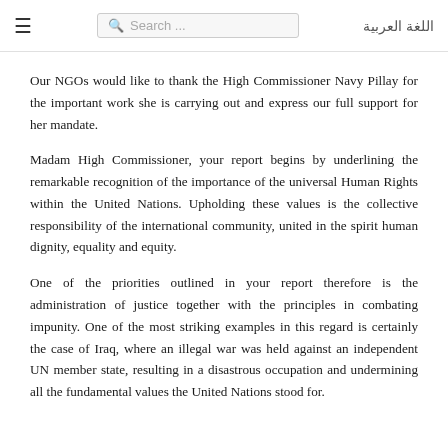≡  Search ...  اللغة العربية
Our NGOs would like to thank the High Commissioner Navy Pillay for the important work she is carrying out and express our full support for her mandate.
Madam High Commissioner, your report begins by underlining the remarkable recognition of the importance of the universal Human Rights within the United Nations. Upholding these values is the collective responsibility of the international community, united in the spirit human dignity, equality and equity.
One of the priorities outlined in your report therefore is the administration of justice together with the principles in combating impunity. One of the most striking examples in this regard is certainly the case of Iraq, where an illegal war was held against an independent UN member state, resulting in a disastrous occupation and undermining all the fundamental values the United Nations stood for.